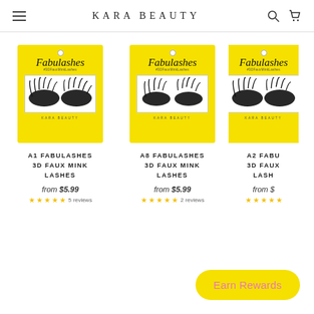KARA BEAUTY
[Figure (photo): A1 Fabulashes 3D Faux Mink Lashes product in yellow packaging]
A1 FABULASHES 3D FAUX MINK LASHES
from $5.99
5 reviews
[Figure (photo): A8 Fabulashes 3D Faux Mink Lashes product in yellow packaging]
A8 FABULASHES 3D FAUX MINK LASHES
from $5.99
2 reviews
[Figure (photo): A2 Fabulashes 3D Faux Mink Lashes product in yellow packaging (partially visible)]
A2 FABU 3D FAUX LASH
from $
Earn Rewards